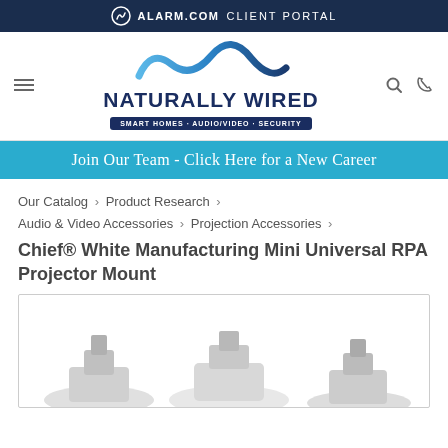ALARM.COM CLIENT PORTAL
[Figure (logo): Naturally Wired logo with wave icon and tagline: SMART HOMES · AUDIO/VIDEO · SECURITY]
Join Our Team - Click Here for a New Career
Our Catalog › Product Research › Audio & Video Accessories › Projection Accessories ›
Chief® White Manufacturing Mini Universal RPA Projector Mount
[Figure (photo): Partial product photo of Chief White projector mount hardware, bottom portion visible]